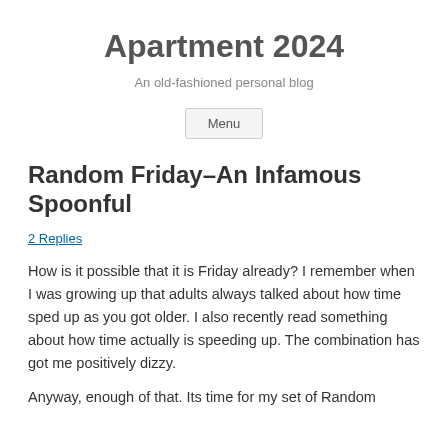Apartment 2024
An old-fashioned personal blog
Menu
Random Friday–An Infamous Spoonful
2 Replies
How is it possible that it is Friday already? I remember when I was growing up that adults always talked about how time sped up as you got older. I also recently read something about how time actually is speeding up. The combination has got me positively dizzy.
Anyway, enough of that. Its time for my set of Random